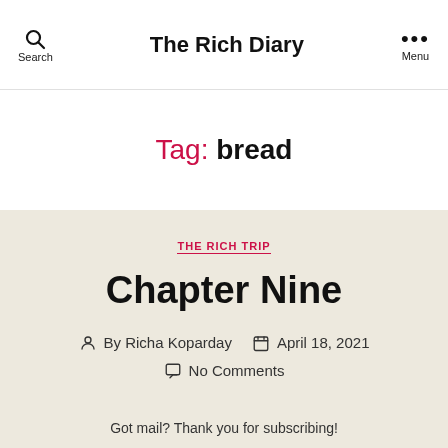Search | The Rich Diary | Menu
Tag: bread
THE RICH TRIP
Chapter Nine
By Richa Koparday  April 18, 2021  No Comments
Got mail? Thank you for subscribing!